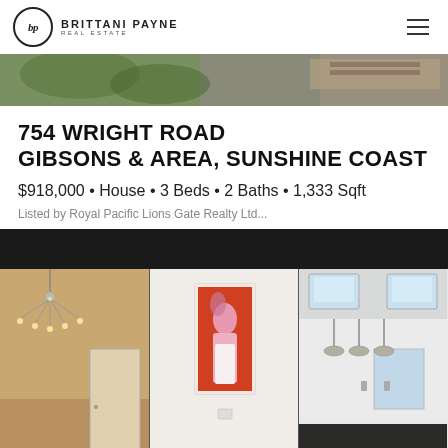BRITTANI PAYNE REAL ESTATE
[Figure (photo): Aerial/overhead photo of a property with outdoor deck and surrounding vegetation]
754 WRIGHT ROAD
GIBSONS & AREA, SUNSHINE COAST
$918,000 • House • 3 Beds • 2 Baths • 1,333 Sqft
Listed by Royal Pacific Lions Gate Realty Ltd...
[Figure (photo): Three interior photos of the home: left shows a chandelier in an entryway, center shows a colorful painting on white wall, right shows a bright kitchen with skylights and pendant lights]